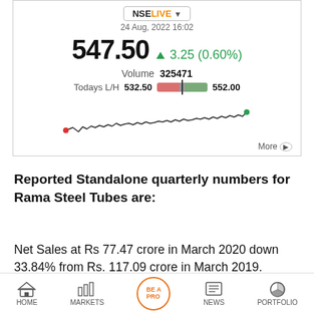[Figure (screenshot): NSE LIVE stock widget showing Rama Steel Tubes price 547.50, up 3.25 (0.60%), Volume 325471, Today L/H 532.50 to 552.00, with a small sparkline chart]
Reported Standalone quarterly numbers for Rama Steel Tubes are:
Net Sales at Rs 77.47 crore in March 2020 down 33.84% from Rs. 117.09 crore in March 2019.
HOME   MARKETS   BE A PRO   NEWS   PORTFOLIO